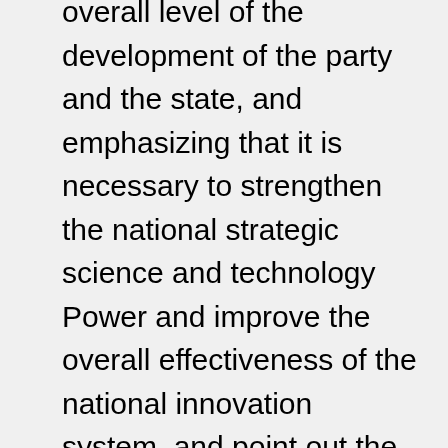overall level of the development of the party and the state, and emphasizing that it is necessary to strengthen the national strategic science and technology Power and improve the overall effectiveness of the national innovation system, and point out the direction in order to accelerate the construction of a strong country and achieve high -level technology independence. The national strategic science and technology power is a scientific research team that can reflect the national will, serve the country's needs, and represent the national level. It is essential for my country to enter the forefront of innovative countries and build a world scientific and technological country. Based on the new development stage, implementing the new development concept, building a new development pattern, and promoting high -quality development, it is urgent to strengthen the national strategic scientific and technological